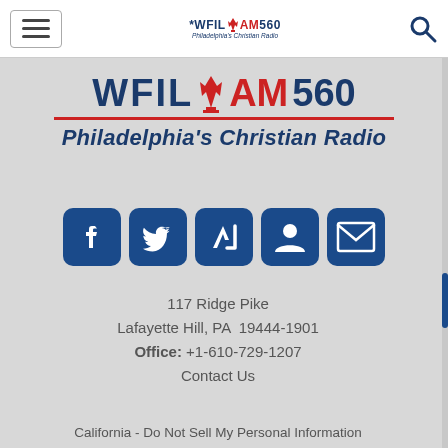WFIL AM560 Philadelphia's Christian Radio — navigation header with hamburger menu and search icon
[Figure (logo): WFIL AM560 Philadelphia's Christian Radio logo — large version with red Liberty Bell icon, blue text, and red underline]
[Figure (infographic): Row of 5 social media icons: Facebook, Twitter, Apple News (AN), User/Profile, and Email/envelope — all in dark blue rounded square buttons]
117 Ridge Pike
Lafayette Hill, PA  19444-1901
Office: +1-610-729-1207
Contact Us
California - Do Not Sell My Personal Information